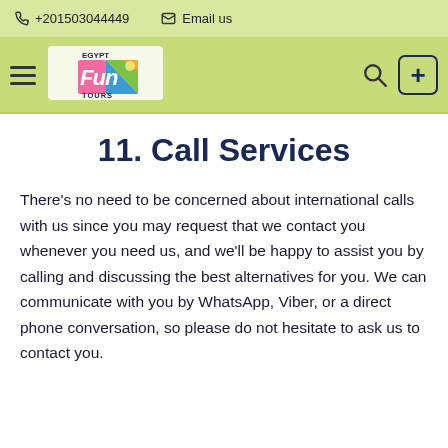+201503044449  Email us
[Figure (logo): Egypt Fun Tours logo with colorful triangular design and text]
11. Call Services
There's no need to be concerned about international calls with us since you may request that we contact you whenever you need us, and we'll be happy to assist you by calling and discussing the best alternatives for you. We can communicate with you by WhatsApp, Viber, or a direct phone conversation, so please do not hesitate to ask us to contact you.